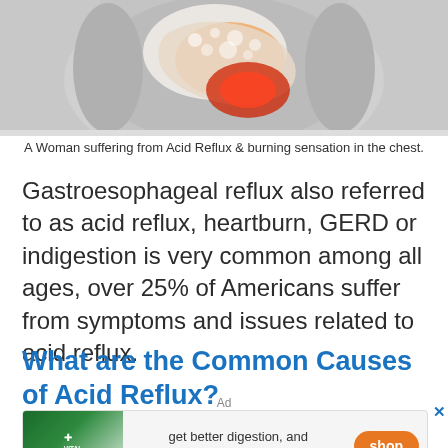[Figure (illustration): Medical illustration of a woman's torso showing stomach with acid reflux, orange/red highlighted area indicating burning sensation in the chest, against a light gray background.]
A Woman suffering from Acid Reflux & burning sensation in the chest.
Gastroesophageal reflux also referred to as acid reflux, heartburn, GERD or indigestion is very common among all ages, over 25% of Americans suffer from symptoms and issues related to acid reflux.
What are the Common Causes of Acid Reflux?
Ad
[Figure (other): Advertisement banner for Vital Reds supplement. Shows product image on left, text 'get better digestion, and higher energy levels.*' in center, orange 'shop' button on right. Close button (x) visible.]